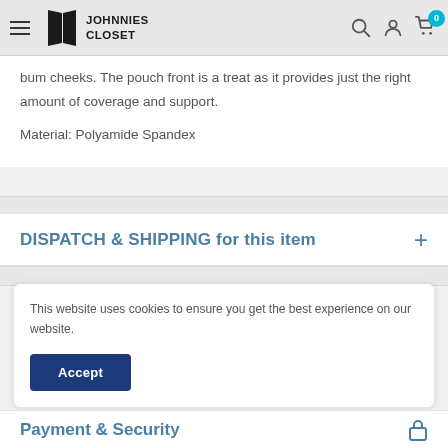Johnnies Closet
bum cheeks. The pouch front is a treat as it provides just the right amount of coverage and support.

Material: Polyamide Spandex
DISPATCH & SHIPPING for this item
This website uses cookies to ensure you get the best experience on our website.
Payment & Security